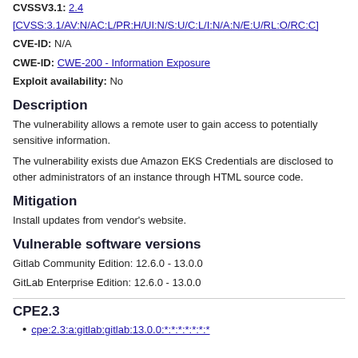CVSSV3.1: 2.4
[CVSS:3.1/AV:N/AC:L/PR:H/UI:N/S:U/C:L/I:N/A:N/E:U/RL:O/RC:C]
CVE-ID: N/A
CWE-ID: CWE-200 - Information Exposure
Exploit availability: No
Description
The vulnerability allows a remote user to gain access to potentially sensitive information.
The vulnerability exists due Amazon EKS Credentials are disclosed to other administrators of an instance through HTML source code.
Mitigation
Install updates from vendor's website.
Vulnerable software versions
Gitlab Community Edition: 12.6.0 - 13.0.0
GitLab Enterprise Edition: 12.6.0 - 13.0.0
CPE2.3
cpe:2.3:a:gitlab:gitlab:13.0.0:*:*:*:*:*:*:*